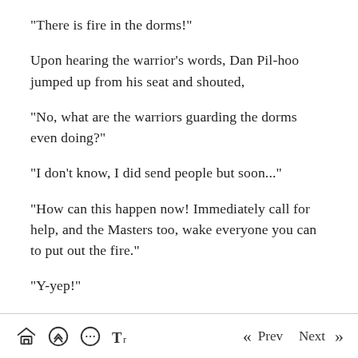"There is fire in the dorms!"
Upon hearing the warrior's words, Dan Pil-hoo jumped up from his seat and shouted,
"No, what are the warriors guarding the dorms even doing?"
"I don't know, I did send people but soon..."
"How can this happen now! Immediately call for help, and the Masters too, wake everyone you can to put out the fire."
"Y-yep!"
It was an emergency. The dorms were on fire. And
Prev  Next